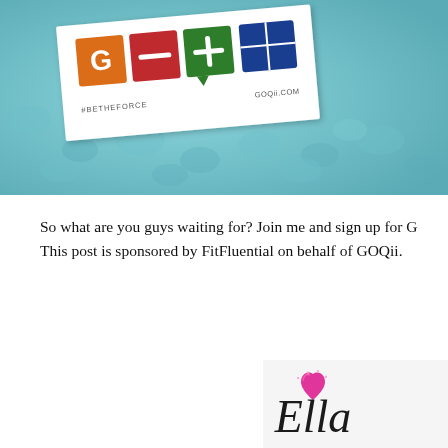[Figure (photo): Photo of a white card/sticker with the GOQii logo (colored squares with letters G, minus, plus, and a grid) on a teal/aqua textured background. The card shows #BETHEFORCE and GOQii.COM text.]
So what are you guys waiting for? Join me and sign up for G This post is sponsored by FitFluential on behalf of GOQii.
[Figure (photo): Signature image with a pink glitter heart and cursive 'Ella' signature text on a light gray/white background.]